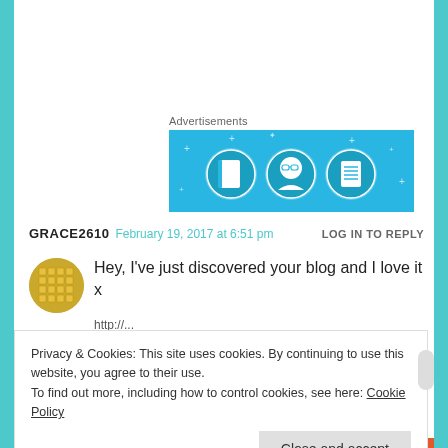Advertisements
[Figure (illustration): Advertisement banner with light blue background showing three circular icons: a door/notebook, a person with glasses, and a document/list, with small plus/star decorations]
GRACE2610   February 19, 2017 at 6:51 pm   LOG IN TO REPLY
[Figure (illustration): Yellow circular avatar with a grid/waffle pattern]
Hey, I've just discovered your blog and I love it x
Privacy & Cookies: This site uses cookies. By continuing to use this website, you agree to their use.
To find out more, including how to control cookies, see here: Cookie Policy
Close and accept